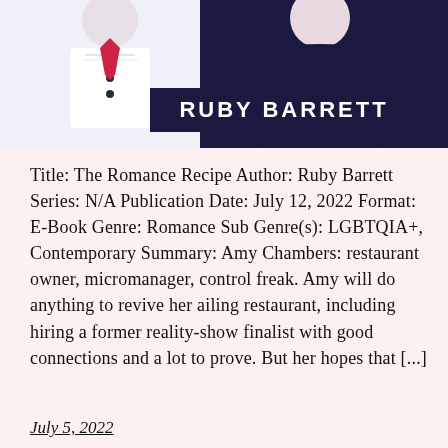[Figure (illustration): Book cover image for 'The Romance Recipe' by Ruby Barrett, showing illustrated figures in formal attire against a dark navy background with the author name 'RUBY BARRETT' prominently displayed in white bold text.]
Title: The Romance Recipe Author: Ruby Barrett Series: N/A Publication Date: July 12, 2022 Format: E-Book Genre: Romance Sub Genre(s): LGBTQIA+, Contemporary Summary: Amy Chambers: restaurant owner, micromanager, control freak. Amy will do anything to revive her ailing restaurant, including hiring a former reality-show finalist with good connections and a lot to prove. But her hopes that [...]
July 5, 2022